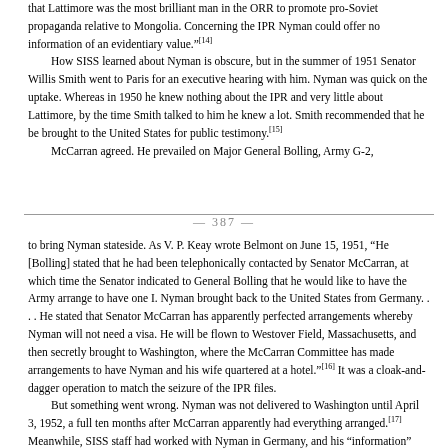that Lattimore was the most brilliant man in the ORR to promote pro-Soviet propaganda relative to Mongolia. Concerning the IPR Nyman could offer no information of an evidentiary value."[14]
How SISS learned about Nyman is obscure, but in the summer of 1951 Senator Willis Smith went to Paris for an executive hearing with him. Nyman was quick on the uptake. Whereas in 1950 he knew nothing about the IPR and very little about Lattimore, by the time Smith talked to him he knew a lot. Smith recommended that he be brought to the United States for public testimony.[15]
McCarran agreed. He prevailed on Major General Bolling, Army G-2,
— 387 —
to bring Nyman stateside. As V. P. Keay wrote Belmont on June 15, 1951, "He [Bolling] stated that he had been telephonically contacted by Senator McCarran, at which time the Senator indicated to General Bolling that he would like to have the Army arrange to have one I. Nyman brought back to the United States from Germany. . . . He stated that Senator McCarran has apparently perfected arrangements whereby Nyman will not need a visa. He will be flown to Westover Field, Massachusetts, and then secretly brought to Washington, where the McCarran Committee has made arrangements to have Nyman and his wife quartered at a hotel."[16] It was a cloak-and-dagger operation to match the seizure of the IPR files.
But something went wrong. Nyman was not delivered to Washington until April 3, 1952, a full ten months after McCarran apparently had everything arranged.[17] Meanwhile, SISS staff had worked with Nyman in Germany, and his "information" about Lattimore had grown exponentially. When he testified on April 7-8